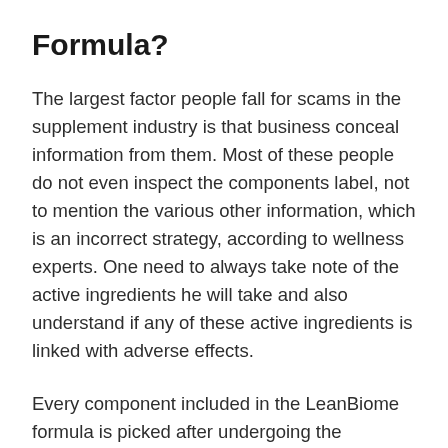Formula?
The largest factor people fall for scams in the supplement industry is that business conceal information from them. Most of these people do not even inspect the components label, not to mention the various other information, which is an incorrect strategy, according to wellness experts. One need to always take note of the active ingredients he will take and also understand if any of these active ingredients is linked with adverse effects.
Every component included in the LeanBiome formula is picked after undergoing the research data showing its advantages. Utilizing the original